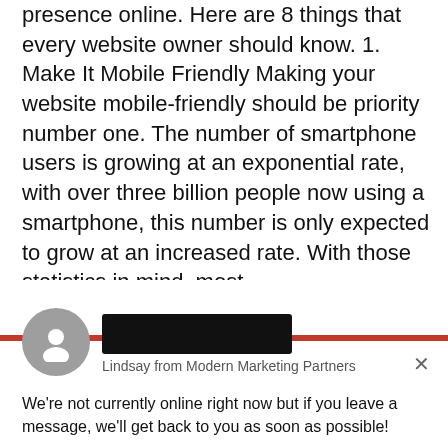presence online. Here are 8 things that every website owner should know. 1. Make It Mobile Friendly Making your website mobile-friendly should be priority number one. The number of smartphone users is growing at an exponential rate, with over three billion people now using a smartphone, this number is only expected to grow at an increased rate. With those statistics in mind, most ...
[Figure (screenshot): Chat widget from Drift showing a user avatar (gray circle with person icon), a redacted black bar (name), red accent bar, header reading 'Lindsay from Modern Marketing Partners' with an X close button, a message 'We're not currently online right now but if you leave a message, we'll get back to you as soon as possible!', a reply input box with placeholder 'Reply to Lindsay', and a footer 'Chat ⚡ by Drift'.]